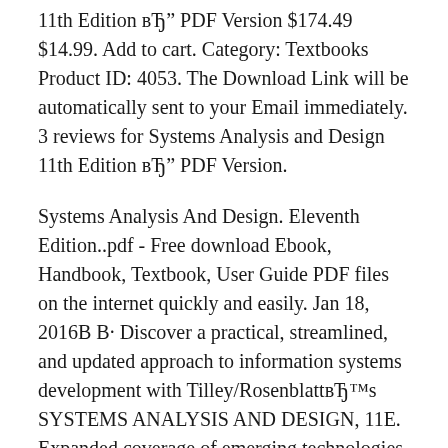11th Edition вЂ" PDF Version $174.49 $14.99. Add to cart. Category: Textbooks Product ID: 4053. The Download Link will be automatically sent to your Email immediately. 3 reviews for Systems Analysis and Design 11th Edition вЂ" PDF Version.
Systems Analysis And Design. Eleventh Edition..pdf - Free download Ebook, Handbook, Textbook, User Guide PDF files on the internet quickly and easily. Jan 18, 2016В В· Discover a practical, streamlined, and updated approach to information systems development with Tilley/RosenblattвЂ™s SYSTEMS ANALYSIS AND DESIGN, 11E. Expanded coverage of emerging technologies, such as agile methods, cloud